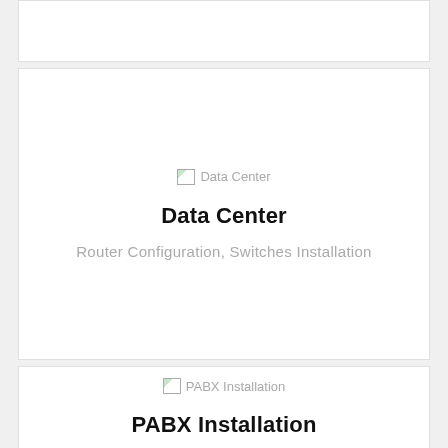[Figure (other): Partial white card at top of page (cropped)]
[Figure (illustration): Data Center broken image placeholder icon followed by text 'Data Center']
Data Center
Router Configuration, Switches Installation
[Figure (illustration): PABX Installation broken image placeholder icon followed by text 'PABX Installation']
PABX Installation